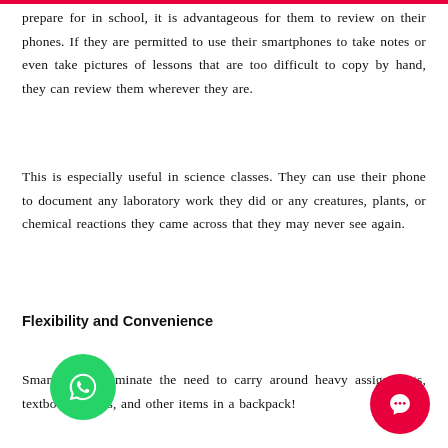prepare for in school, it is advantageous for them to review on their phones. If they are permitted to use their smartphones to take notes or even take pictures of lessons that are too difficult to copy by hand, they can review them wherever they are.
This is especially useful in science classes. They can use their phone to document any laboratory work they did or any creatures, plants, or chemical reactions they came across that they may never see again.
Flexibility and Convenience
Smartphones eliminate the need to carry around heavy assignments, textbooks, notes, and other items in a backpack!